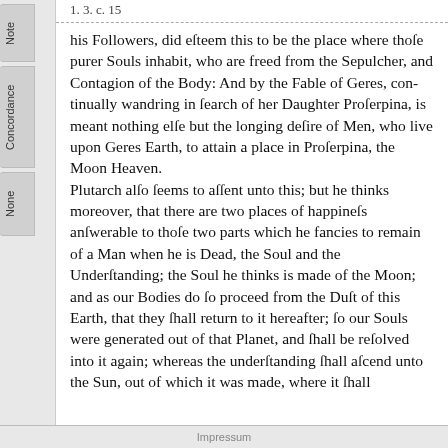1. 3. c. 15
his Followers, did eſteem this to be the place where thoſe purer Souls inhabit, who are freed from the Sepulcher, and Contagion of the Body: And by the Fable of Geres, continually wandring in ſearch of her Daughter Proſerpina, is meant nothing elſe but the longing deſire of Men, who live upon Geres Earth, to attain a place in Proſerpina, the Moon Heaven.
Plutarch alſo ſeems to aſſent unto this; but he thinks moreover, that there are two places of happineſs anſwerable to thoſe two parts which he fancies to remain of a Man when he is Dead, the Soul and the Underſtanding; the Soul he thinks is made of the Moon; and as our Bodies do ſo proceed from the Duſt of this Earth, that they ſhall return to it hereafter; ſo our Souls were generated out of that Planet, and ſhall be reſolved into it again; whereas the underſtanding ſhall aſcend unto the Sun, out of which it was made, where it ſhall
Impressum